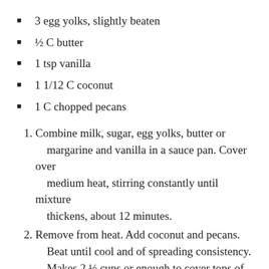3 egg yolks, slightly beaten
½ C butter
1 tsp vanilla
1 1/12 C coconut
1 C chopped pecans
1. Combine milk, sugar, egg yolks, butter or margarine and vanilla in a sauce pan. Cover over medium heat, stirring constantly until mixture thickens, about 12 minutes.
2. Remove from heat. Add coconut and pecans. Beat until cool and of spreading consistency. Makes 2 ½ cups or enough to cover tops of three